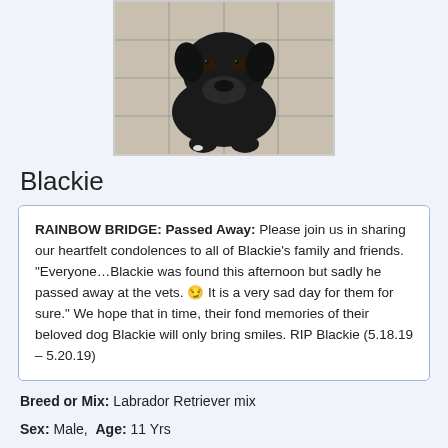[Figure (photo): Black dog looking up at camera, standing on tiled floor]
Blackie
RAINBOW BRIDGE: Passed Away: Please join us in sharing our heartfelt condolences to all of Blackie's family and friends. “Everyone…Blackie was found this afternoon but sadly he passed away at the vets. 😏 It is a very sad day for them for sure.” We hope that in time, their fond memories of their beloved dog Blackie will only bring smiles. RIP Blackie (5.18.19 – 5.20.19)
Breed or Mix: Labrador Retriever mix
Sex: Male, Age: 11 Yrs
Collar/Tags: No collar/tags